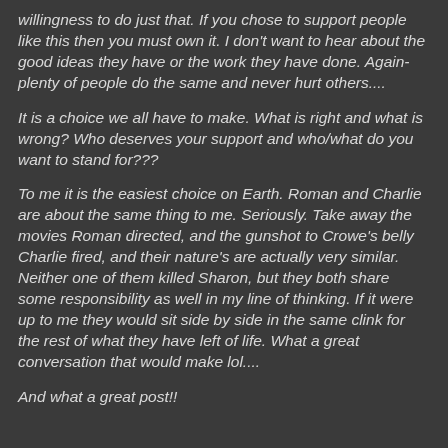willingness to do just that. If you chose to support people like this then you must own it. I don't want to hear about the good ideas they have or the work they have done. Again- plenty of people do the same and never hurt others....
It is a choice we all have to make. What is right and what is wrong? Who deserves your support and who/what do you want to stand for???
To me it is the easiest choice on Earth. Roman and Charlie are about the same thing to me. Seriously. Take away the movies Roman directed, and the gunshot to Crowe's belly Charlie fired, and their nature's are actually very similar. Neither one of them killed Sharon, but they both share some responsibility as well in my line of thinking. If it were up to me they would sit side by side in the same clink for the rest of what they have left of life. What a great conversation that would make lol....
And what a great post!!